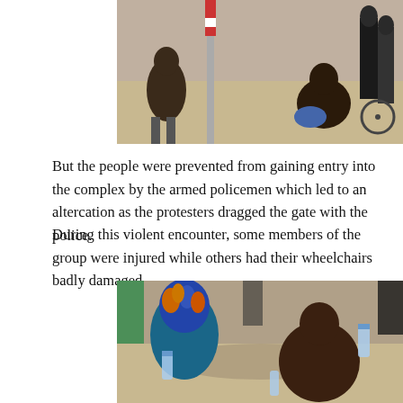[Figure (photo): Outdoor scene showing people on a paved area, some seated on the ground, with a pole or barrier visible in the background.]
But the people were prevented from gaining entry into the complex by the armed policemen which led to an altercation as the protesters dragged the gate with the police.
During this violent encounter, some members of the group were injured while others had their wheelchairs badly damaged.
[Figure (photo): Two injured people seated on the ground outdoors: a woman with blue and orange braids holding a water bottle, and a shirtless man, with other individuals standing around them.]